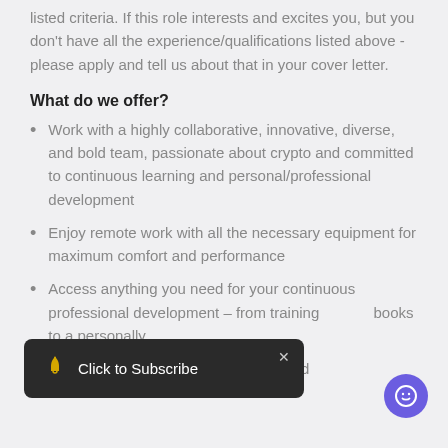listed criteria. If this role interests and excites you, but you don't have all the experience/qualifications listed above - please apply and tell us about that in your cover letter.
What do we offer?
Work with a highly collaborative, innovative, diverse, and bold team, passionate about crypto and committed to continuous learning and personal/professional development
Enjoy remote work with all the necessary equipment for maximum comfort and performance
Access anything you need for your continuous professional development – from training books to a personally
Have fun at team building activities and